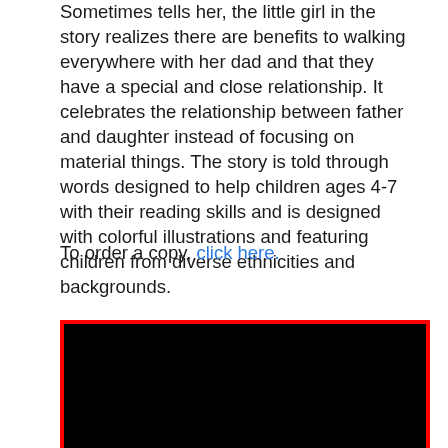Sometimes tells her, the little girl in the story realizes there are benefits to walking everywhere with her dad and that they have a special and close relationship. It celebrates the relationship between father and daughter instead of focusing on material things. The story is told through words designed to help children ages 4-7 with their reading skills and is designed with colorful illustrations and featuring children from diverse ethnicities and backgrounds.
To order a copy, click here.
[Figure (other): A video thumbnail or embedded video player with a black screen and a red border frame.]